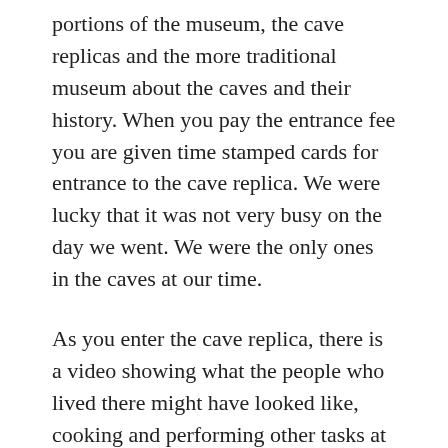portions of the museum, the cave replicas and the more traditional museum about the caves and their history. When you pay the entrance fee you are given time stamped cards for entrance to the cave replica. We were lucky that it was not very busy on the day we went. We were the only ones in the caves at our time.
As you enter the cave replica, there is a video showing what the people who lived there might have looked like, cooking and performing other tasks at the entrance to their cave. Then, it simulates an earthquake and cave-in, showing the entrance to the cave being closed off by falling debris. This scared my five year old, who continued to ask if there would be an earthquake the remainder of our visit to the museum.
Next, you move down some metal ramps into the area